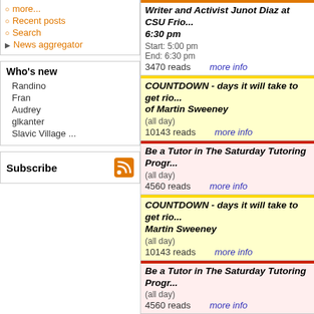more...
Recent posts
Search
News aggregator
Who's new
Randino
Fran
Audrey
glkanter
Slavic Village ...
Subscribe
Writer and Activist Junot Diaz at CSU Frio... 6:30 pm
Start: 5:00 pm
End: 6:30 pm
3470 reads   more info
COUNTDOWN - days it will take to get rio... of Martin Sweeney
(all day)
10143 reads   more info
Be a Tutor in The Saturday Tutoring Progr...
(all day)
4560 reads   more info
COUNTDOWN - days it will take to get rio... Martin Sweeney
(all day)
10143 reads   more info
Be a Tutor in The Saturday Tutoring Progr...
(all day)
4560 reads   more info
COUNTDOWN - days it will take to get rio... of Martin Sweeney
(all day)
10143 reads   more info
Be a Tutor in The Saturday Tutoring Progr...
(all day)
4560 reads   more info